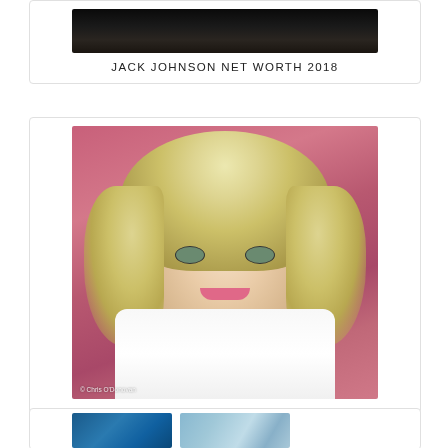[Figure (photo): Partial photo of Jack Johnson, cropped at top, dark background]
JACK JOHNSON NET WORTH 2018
[Figure (photo): Portrait photo of Louise Pentland, a blonde woman smiling, wearing white, with pink background. Watermark: © Chris O'Donovan]
LOUISE PENTLAND NET WORTH 2018
[Figure (photo): Partial view of a third card at the bottom of the page, showing blue and teal colored images, partially cut off]